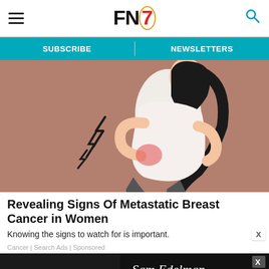FN7 — SUBSCRIBE | NEWSLETTERS
[Figure (illustration): Illustration of a woman bending forward holding her lower back in pain, with lightning bolt symbols indicating pain on her lower back area. Background is muted rose/brown color.]
Revealing Signs Of Metastatic Breast Cancer in Women
Knowing the signs to watch for is important.
Cancer | Search Ads | Sponsored
[Figure (photo): Advertisement banner showing a black and white fashion photo with cursive text reading 'Sam Edelman']